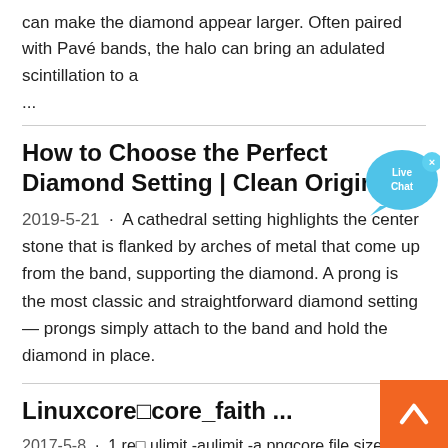can make the diamond appear larger. Often paired with Pavé bands, the halo can bring an adulated scintillation to a ...
How to Choose the Perfect Diamond Setting | Clean Origin
2019-5-21 · A cathedral setting highlights the center stone that is flanked by arches of metal that come up from the band, supporting the diamond. A prong is the most classic and straightforward diamond setting — prongs simply attach to the band and hold the diamond in place.
[Figure (illustration): Live Chat speech bubble widget in blue]
Linuxcore□core_faith ...
2017-5-8 · 1 re□ ulimit -aulimit -a.pngcore file size□ ulimit -
[Figure (other): Back to top orange button with upward chevron arrow]